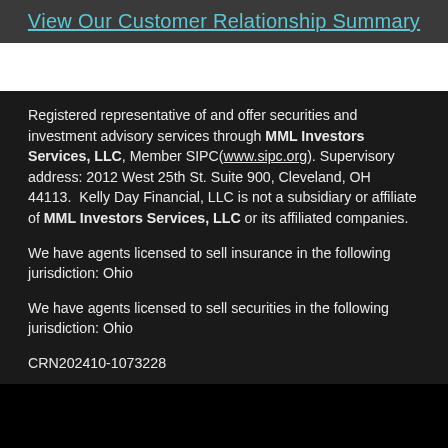View Our Customer Relationship Summary
Registered representative of and offer securities and investment advisory services through MML Investors Services, LLC, Member SIPC(www.sipc.org). Supervisory address: 2012 West 25th St. Suite 900, Cleveland, OH 44113.  Kelly Day Financial, LLC is not a subsidiary or affiliate of MML Investors Services, LLC or its affiliated companies.
We have agents licensed to sell insurance in the following jurisdiction: Ohio
We have agents licensed to sell securities in the following jurisdiction: Ohio
CRN202410-1073228